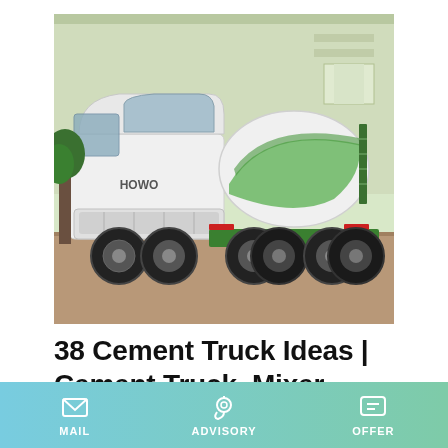[Figure (photo): A white and green HOWO cement mixer truck parked in front of a large industrial building. The truck has a rotating white and green drum mixer mounted on the back.]
38 Cement Truck Ideas | Cement Truck, Mixer Truck
Jul 18, 2018 - Explore construction machine's board "cement truck" on Pinterest. See more ideas about cement truck, mixer
MAIL | ADVISORY | OFFER